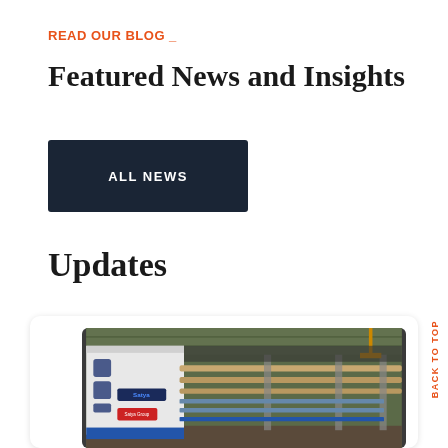READ OUR BLOG _
Featured News and Insights
ALL NEWS
Updates
[Figure (photo): Industrial machine (Satya brand) in a warehouse/factory setting, showing a large white and blue manufacturing or printing machine with rollers and mechanical components.]
BACK TO TOP